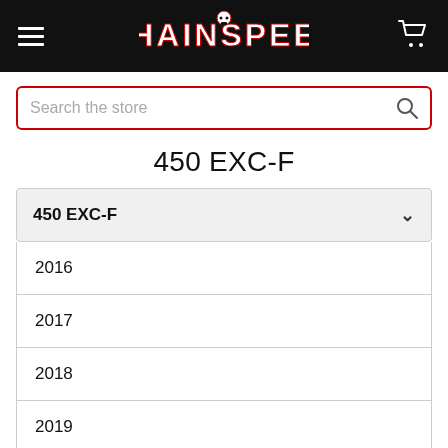CHAINSPEED — navigation header with hamburger menu and cart icon
Search the store
450 EXC-F
450 EXC-F
2016
2017
2018
2019
2020
2021